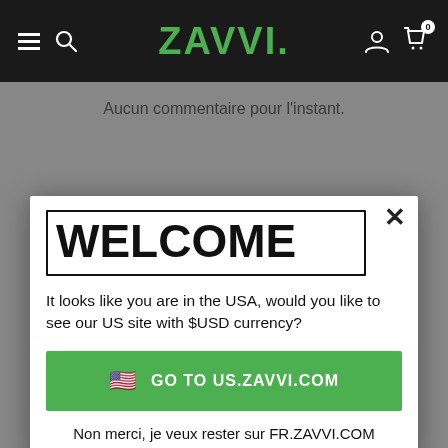[Figure (screenshot): Zavvi website navigation bar with hamburger menu, search icon, green ZAVVI logo, user icon, and cart icon with 0 badge]
Aucun commentaire pour l'instant.
WELCOME
It looks like you are in the USA, would you like to see our US site with $USD currency?
🇺🇸 GO TO US.ZAVVI.COM
Non merci, je veux rester sur FR.ZAVVI.COM
[Figure (photo): Two clothing products: a dark navy sweatshirt on the left and black jogger pants on the right]